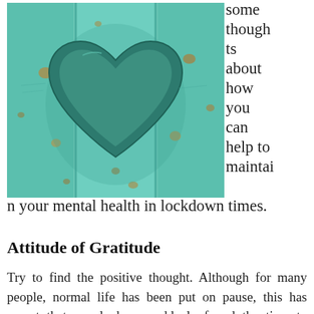[Figure (photo): A teal/turquoise painted wooden surface with a heart shape carved or cut out of it, showing weathered and distressed paint with brown/gold spots.]
some thoughts about how you can help to maintain your mental health in lockdown times.
Attitude of Gratitude
Try to find the positive thought. Although for many people, normal life has been put on pause, this has meant that people have suddenly found the time to catch up on many things in life. People are putting this extra time, that they have never had before, to